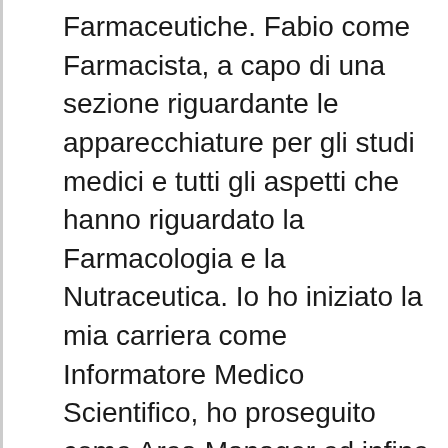Farmaceutiche. Fabio come Farmacista, a capo di una sezione riguardante le apparecchiature per gli studi medici e tutti gli aspetti che hanno riguardato la Farmacologia e la Nutraceutica. Io ho iniziato la mia carriera come Informatore Medico Scientifico, ho proseguito come Area Manager ed infine come Training Manager. Entrambi quindi possiamo contare sul riscontro positivo pluriennale dei medici e di tutti i Professionisti della Salute che in tutti questi anni abbiamo